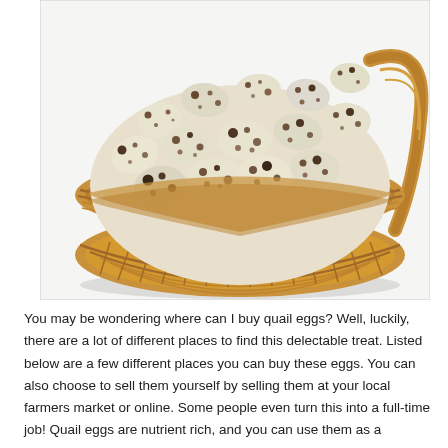[Figure (photo): A wicker basket filled with many speckled quail eggs. The eggs are cream/beige colored with brown and dark spots, piled high in a round woven basket on a white background.]
You may be wondering where can I buy quail eggs? Well, luckily, there are a lot of different places to find this delectable treat. Listed below are a few different places you can buy these eggs. You can also choose to sell them yourself by selling them at your local farmers market or online. Some people even turn this into a full-time job! Quail eggs are nutrient rich, and you can use them as a